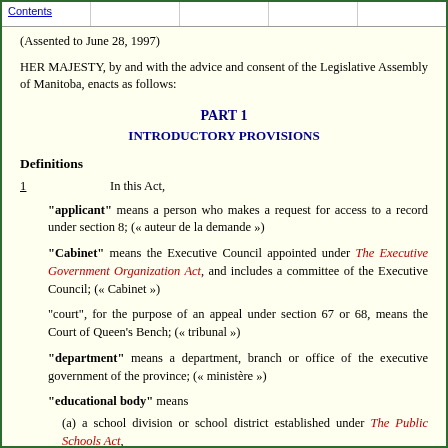Contents
(Assented to June 28, 1997)
HER MAJESTY, by and with the advice and consent of the Legislative Assembly of Manitoba, enacts as follows:
PART 1
INTRODUCTORY PROVISIONS
Definitions
1   In this Act,
"applicant" means a person who makes a request for access to a record under section 8; (« auteur de la demande »)
"Cabinet" means the Executive Council appointed under The Executive Government Organization Act, and includes a committee of the Executive Council; (« Cabinet »)
"court", for the purpose of an appeal under section 67 or 68, means the Court of Queen's Bench; (« tribunal »)
"department" means a department, branch or office of the executive government of the province; (« ministère »)
"educational body" means
(a) a school division or school district established under The Public Schools Act,
(b) The University of Manitoba,